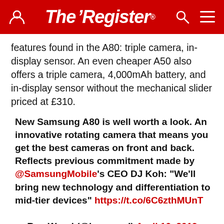The Register
features found in the A80: triple camera, in-display sensor. An even cheaper A50 also offers a triple camera, 4,000mAh battery, and in-display sensor without the mechanical slider priced at £310.
New Samsung A80 is well worth a look. An innovative rotating camera that means you get the best cameras on front and back. Reflects previous commitment made by @SamsungMobile's CEO DJ Koh: "We'll bring new technology and differentiation to mid-tier devices" https://t.co/6C6zthMUnT
— Ben Wood (@benwood) April 10, 2019